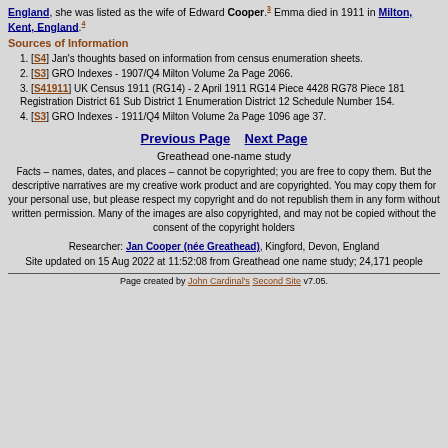England, she was listed as the wife of Edward Cooper.3 Emma died in 1911 in Milton, Kent, England.4
Sources of Information
1. [S4] Jan's thoughts based on information from census enumeration sheets.
2. [S3] GRO Indexes - 1907/Q4 Milton Volume 2a Page 2066.
3. [S41911] UK Census 1911 (RG14) - 2 April 1911 RG14 Piece 4428 RG78 Piece 181 Registration District 61 Sub District 1 Enumeration District 12 Schedule Number 154.
4. [S3] GRO Indexes - 1911/Q4 Milton Volume 2a Page 1096 age 37.
Previous Page    Next Page
Greathead one-name study
Facts – names, dates, and places – cannot be copyrighted; you are free to copy them. But the descriptive narratives are my creative work product and are copyrighted. You may copy them for your personal use, but please respect my copyright and do not republish them in any form without written permission. Many of the images are also copyrighted, and may not be copied without the consent of the copyright holders
Researcher: Jan Cooper (née Greathead), Kingford, Devon, England Site updated on 15 Aug 2022 at 11:52:08 from Greathead one name study; 24,171 people
Page created by John Cardinal's Second Site v7.05.